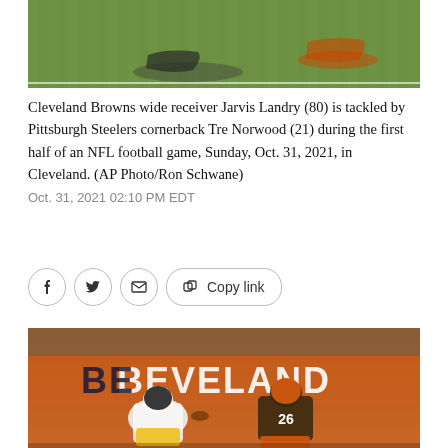[Figure (photo): Top portion of a football game photo showing grass field with players — Cleveland Browns vs Pittsburgh Steelers]
Cleveland Browns wide receiver Jarvis Landry (80) is tackled by Pittsburgh Steelers cornerback Tre Norwood (21) during the first half of an NFL football game, Sunday, Oct. 31, 2021, in Cleveland. (AP Photo/Ron Schwane)
Oct. 31, 2021 02:10 PM EDT
[Figure (photo): Football game action photo: Pittsburgh Steelers player in black and yellow uniform carries the ball while Cleveland Browns player number 26 attempts a tackle, with a CLEVELAND stadium sign in the background]